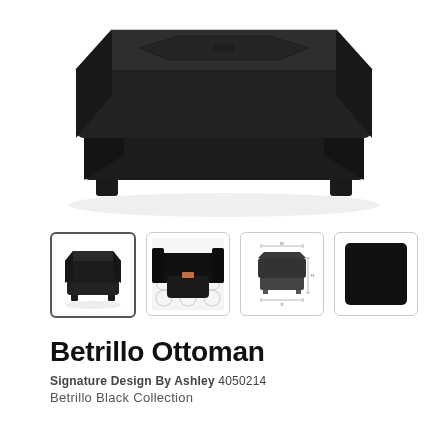[Figure (photo): Close-up photo of a black leather ottoman with four small legs, viewed from a slightly elevated angle. The ottoman has tufted/seamed top and dark espresso/black faux leather upholstery.]
[Figure (photo): Four thumbnail images of the Betrillo Ottoman: 1) Front view of the ottoman alone (selected/highlighted), 2) Ottoman shown in a living room setting with a sofa and patterned rug, 3) Dimensional diagram/schematic drawing of the ottoman with measurements, 4) Black fabric/material swatch.]
Betrillo Ottoman
Signature Design By Ashley 4050214
Betrillo Black Collection